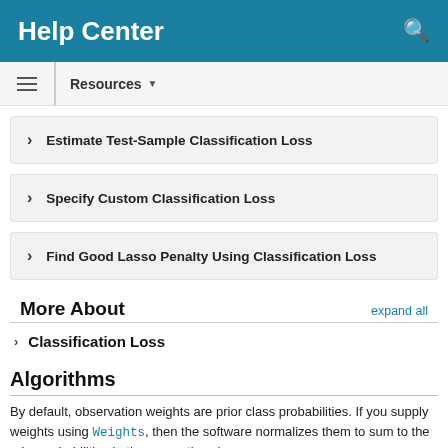Help Center
Estimate Test-Sample Classification Loss
Specify Custom Classification Loss
Find Good Lasso Penalty Using Classification Loss
More About
Classification Loss
Algorithms
By default, observation weights are prior class probabilities. If you supply weights using Weights, then the software normalizes them to sum to the prior probabilities in the respective classes.